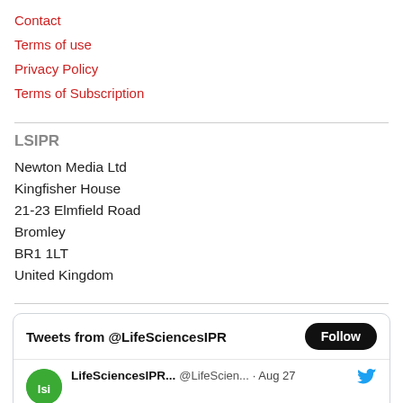Contact
Terms of use
Privacy Policy
Terms of Subscription
LSIPR
Newton Media Ltd
Kingfisher House
21-23 Elmfield Road
Bromley
BR1 1LT
United Kingdom
[Figure (screenshot): Twitter/X embedded widget showing 'Tweets from @LifeSciencesIPR' header with Follow button, and a tweet row showing LifeSciencesIPR... @LifeScien... · Aug 27 with Twitter bird icon]